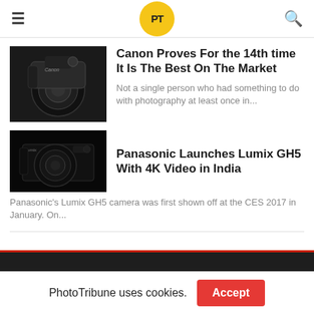PhotoTribune logo header with hamburger menu and search icon
[Figure (photo): Canon DSLR camera with lens, dark background]
Canon Proves For the 14th time It Is The Best On The Market
Not a single person who had something to do with photography at least once in...
[Figure (photo): Panasonic Lumix GH5 camera with lens, dark background]
Panasonic Launches Lumix GH5 With 4K Video in India
Panasonic's Lumix GH5 camera was first shown off at the CES 2017 in January. On...
PhotoTribune uses cookies.  Accept